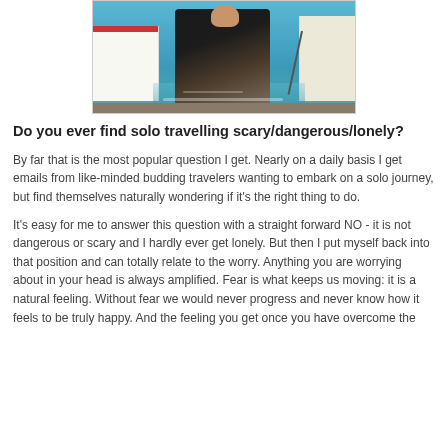[Figure (photo): Photo of a person sitting near boats by turquoise blue water, likely a Mediterranean harbor scene. Person wearing dark clothing with striped skirt/wrap, boats visible on left and right.]
Do you ever find solo travelling scary/dangerous/lonely?
By far that is the most popular question I get. Nearly on a daily basis I get emails from like-minded budding travelers wanting to embark on a solo journey, but find themselves naturally wondering if it's the right thing to do.
It's easy for me to answer this question with a straight forward NO - it is not dangerous or scary and I hardly ever get lonely. But then I put myself back into that position and can totally relate to the worry. Anything you are worrying about in your head is always amplified. Fear is what keeps us moving: it is a natural feeling. Without fear we would never progress and never know how it feels to be truly happy. And the feeling you get once you have overcome the